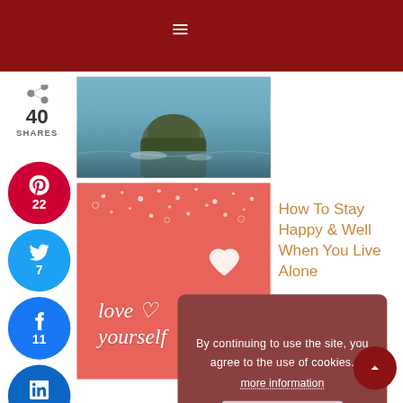[Figure (screenshot): Website screenshot showing a red navigation bar at top with hamburger menu icon, social share sidebar with Pinterest (22), Twitter (7), Facebook (11), LinkedIn Share buttons, two article cards with images, a cookie consent banner, and a back-to-top button]
40 SHARES
22
7
11
Share
How To Stay Happy & Well When You Live Alone
By continuing to use the site, you agree to the use of cookies.
more information
ACCEPT